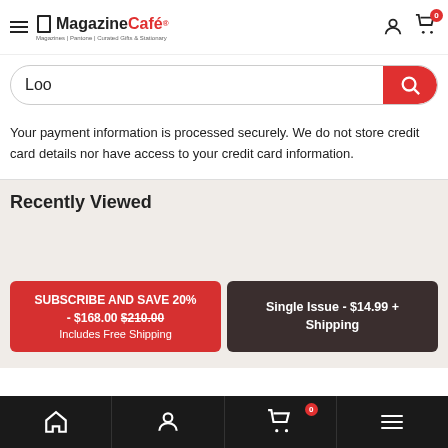Magazine Café — Magazines | Pantone | Curated Gifts & Stationary
Loo
Your payment information is processed securely. We do not store credit card details nor have access to your credit card information.
Recently Viewed
SUBSCRIBE AND SAVE 20% - $168.00 $210.00 Includes Free Shipping
Single Issue - $14.99 + Shipping
Home | Account | Cart (0) | Menu